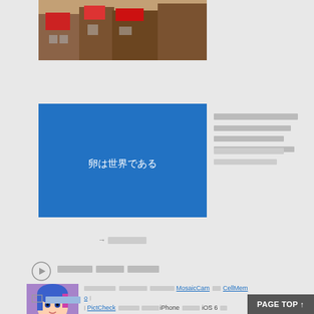[Figure (photo): Street photo showing Japanese storefronts with signs]
[Figure (illustration): Blue card with Japanese text '卵は世界である']
[redacted Japanese text - article title]
[redacted Japanese text - article subtitle]
→ もっと見る
[Figure (other): Play button icon with Japanese text label]
[video title in Japanese]
[Figure (illustration): Anime-style profile avatar with blue/pink hair]
[Japanese text with links to MosaicCam, CellMemo, PictCheck, iPhone, iOS 6, cocos2d for iPhone]
プロフィール
PAGE TOP ↑